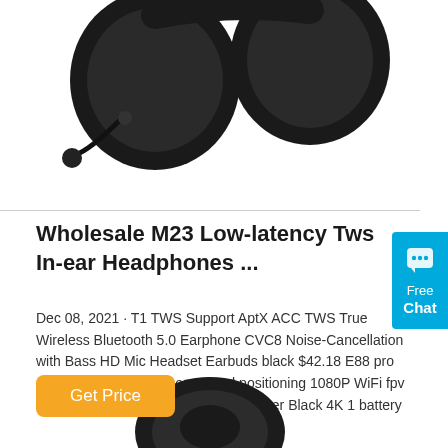[Figure (photo): Black over-ear headset with microphone arm, viewed from above/side angle on white background]
Wholesale M23 Low-latency Tws In-ear Headphones ...
Dec 08, 2021 · T1 TWS Support AptX ACC TWS True Wireless Bluetooth 5.0 Earphone CVC8 Noise-Cancellation with Bass HD Mic Headset Earbuds black $42.18 E88 pro drone 4k HD dual camera visual positioning 1080P WiFi fpv drone height preservation rc quadcopter Black 4K 1 battery
[Figure (other): Cyan/blue Free Chat widget button on right edge]
[Figure (photo): Black over-ear headset, partially visible at bottom of page]